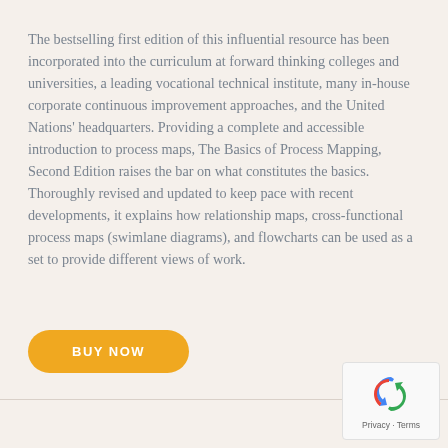The bestselling first edition of this influential resource has been incorporated into the curriculum at forward thinking colleges and universities, a leading vocational technical institute, many in-house corporate continuous improvement approaches, and the United Nations' headquarters. Providing a complete and accessible introduction to process maps, The Basics of Process Mapping, Second Edition raises the bar on what constitutes the basics. Thoroughly revised and updated to keep pace with recent developments, it explains how relationship maps, cross-functional process maps (swimlane diagrams), and flowcharts can be used as a set to provide different views of work.
[Figure (other): Orange pill-shaped BUY NOW button]
[Figure (logo): reCAPTCHA widget with Google logo arrows and Privacy - Terms text]